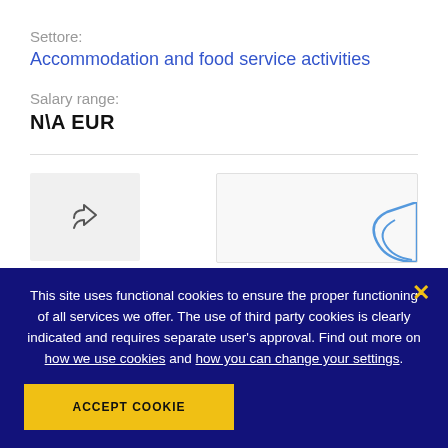Settore:
Accommodation and food service activities
Salary range:
N\A EUR
[Figure (other): Share button with curved arrow icon]
[Figure (other): Right button with blue arc decoration]
This site uses functional cookies to ensure the proper functioning of all services we offer. The use of third party cookies is clearly indicated and requires separate user's approval. Find out more on how we use cookies and how you can change your settings.
ACCEPT COOKIE